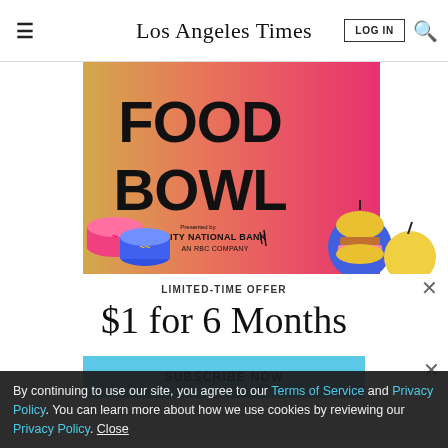Los Angeles Times
[Figure (illustration): Los Angeles Times Food Bowl banner advertisement. Colorful illustrated graphic with pink/gradient background showing large bold text 'FOOD BOWL' with 'Presented by CITY NATIONAL BANK AN RBC COMPANY' and illustrated food items including burgers and donuts.]
LIMITED-TIME OFFER
$1 for 6 Months
SUBSCRIBE NOW
By continuing to use our site, you agree to our Terms of Service and Privacy Policy. You can learn more about how we use cookies by reviewing our Privacy Policy. Close